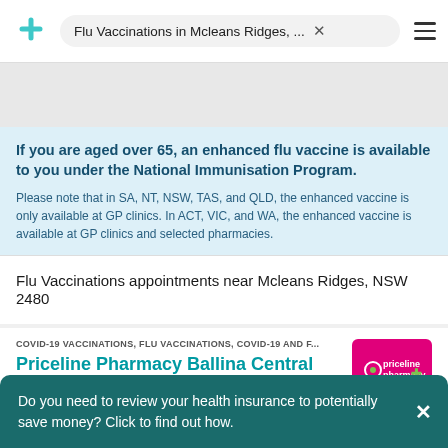Flu Vaccinations in Mcleans Ridges, ...
If you are aged over 65, an enhanced flu vaccine is available to you under the National Immunisation Program.
Please note that in SA, NT, NSW, TAS, and QLD, the enhanced vaccine is only available at GP clinics. In ACT, VIC, and WA, the enhanced vaccine is available at GP clinics and selected pharmacies.
Flu Vaccinations appointments near Mcleans Ridges, NSW 2480
COVID-19 VACCINATIONS, FLU VACCINATIONS, COVID-19 AND F...
Priceline Pharmacy Ballina Central
Do you need to review your health insurance to potentially save money? Click to find out how.